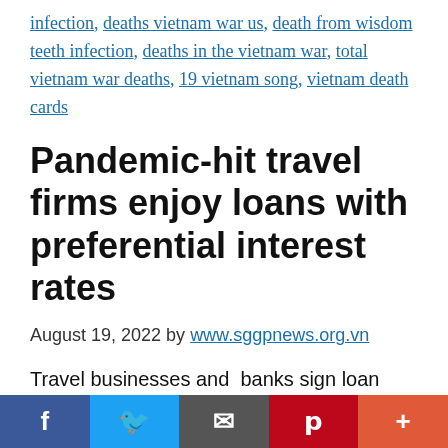infection, deaths vietnam war us, death from wisdom teeth infection, deaths in the vietnam war, total vietnam war deaths, 19 vietnam song, vietnam death cards
Pandemic-hit travel firms enjoy loans with preferential interest rates
August 19, 2022 by www.sggpnews.org.vn
Travel businesses and  banks sign loan contracts with a preferential interest rate. The event attracted 18 banks and more than 100 tourist